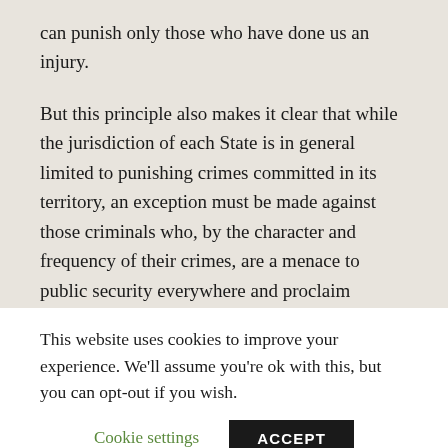can punish only those who have done us an injury.
But this principle also makes it clear that while the jurisdiction of each State is in general limited to punishing crimes committed in its territory, an exception must be made against those criminals who, by the character and frequency of their crimes, are a menace to public security everywhere and proclaim themselves enemies of the whole human race. Men who by profession are poisoners, assassins, or incendiaries may be exterminated wherever they are caught; for they direct their disastrous attacks against all Nations, by destroying the foundation of their common safety. Thus
This website uses cookies to improve your experience. We'll assume you're ok with this, but you can opt-out if you wish.
Cookie settings
ACCEPT